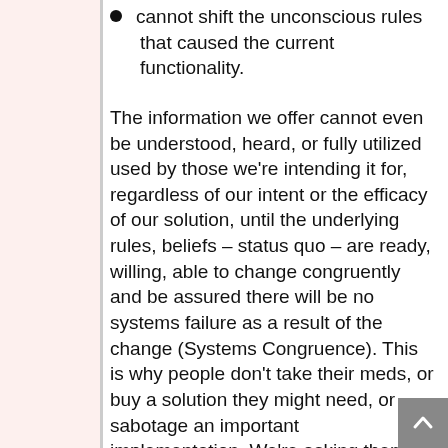cannot shift the unconscious rules that caused the current functionality.
The information we offer cannot even be understood, heard, or fully utilized used by those we're intending it for, regardless of our intent or the efficacy of our solution, until the underlying rules, beliefs – status quo – are ready, willing, able to change congruently and be assured there will be no systems failure as a result of the change (Systems Congruence). This is why people don't take their meds, or buy a solution they might need, or sabotage an important implementation. We're asking them to do stuff that may (unconsciously) run